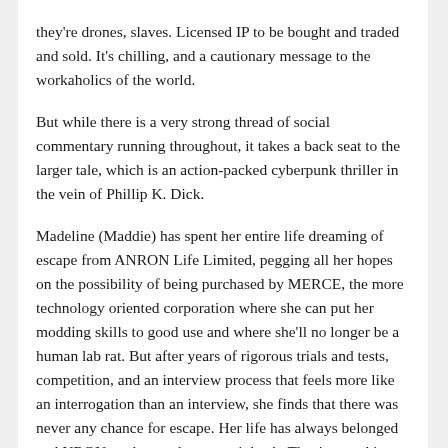they're drones, slaves. Licensed IP to be bought and traded and sold. It's chilling, and a cautionary message to the workaholics of the world.
But while there is a very strong thread of social commentary running throughout, it takes a back seat to the larger tale, which is an action-packed cyberpunk thriller in the vein of Phillip K. Dick.
Madeline (Maddie) has spent her entire life dreaming of escape from ANRON Life Limited, pegging all her hopes on the possibility of being purchased by MERCE, the more technology oriented corporation where she can put her modding skills to good use and where she'll no longer be a human lab rat. But after years of rigorous trials and tests, competition, and an interview process that feels more like an interrogation than an interview, she finds that there was never any chance for escape. Her life has always belonged to ANRON, and now, they want it back. They're revoking her license, sentencing her to death in the name of science.
And she's having none of it. Alone, disconnected from the